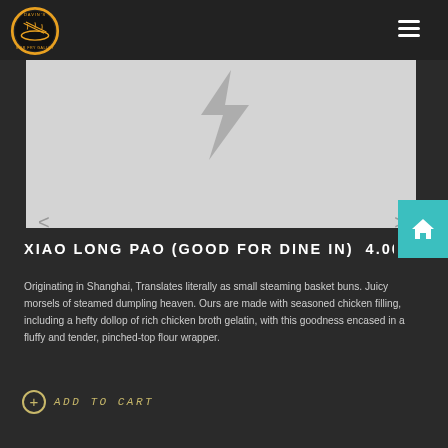Davin's Stir Fry Galley — navigation header with logo and hamburger menu
[Figure (photo): Restaurant food product image slider with light gray background, showing a faint lightning bolt shape and left/right navigation arrows]
XIAO LONG PAO (GOOD FOR DINE IN)  4.00
Originating in Shanghai, Translates literally as small steaming basket buns. Juicy morsels of steamed dumpling heaven. Ours are made with seasoned chicken filling, including a hefty dollop of rich chicken broth gelatin, with this goodness encased in a fluffy and tender, pinched-top flour wrapper.
ADD TO CART